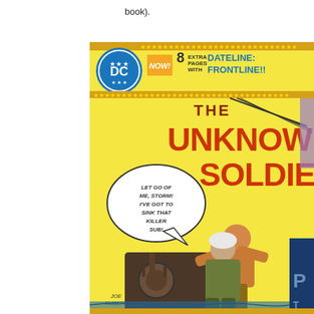book).
[Figure (illustration): Cover of DC Comics 'The Unknown Soldier' comic book. Features the DC logo in the top left (blue circle with white DC letters and stars). A banner reads 'NOW! 8 EXTRA PAGES WITH DATELINE: FRONTLINE!!'. The title 'THE UNKNOWN SOLDIER' is displayed in large orange/red letters on a yellow background. A speech bubble reads 'LET GO OF ME, STORM! I'VE GOT TO SINK THAT KILLER SUB!' Two figures are fighting in the foreground on what appears to be a submarine. Artist signature reads 'JOE KUBERT' in the lower left.]